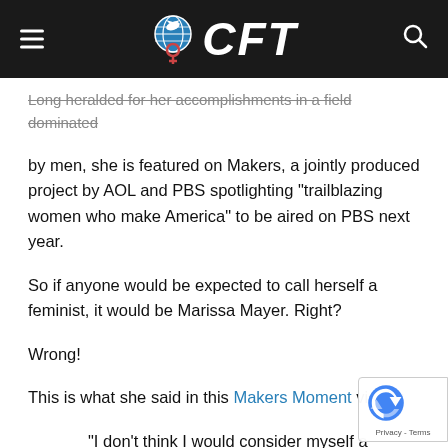CFT
Long heralded for her accomplishments in a field dominated by men, she is featured on Makers, a jointly produced project by AOL and PBS spotlighting “trailblazing women who make America” to be aired on PBS next year.
So if anyone would be expected to call herself a feminist, it would be Marissa Mayer. Right?
Wrong!
This is what she said in this Makers Moment video :
“I don’t think I would consider myself a feminist. I think that I certainly believe in equal rights. I believe that women are just as capable, if not more so in a lot of different dimensions, but I don’t think I have the militant